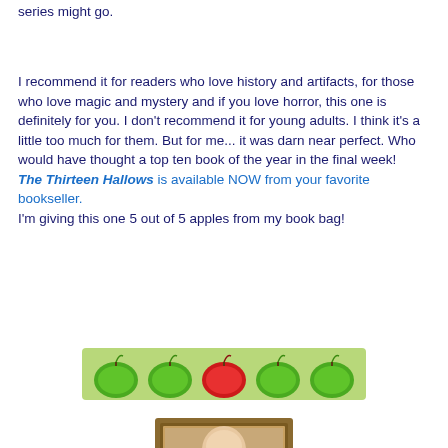series might go.
I recommend it for readers who love history and artifacts, for those who love magic and mystery and if you love horror, this one is definitely for you. I don't recommend it for young adults. I think it's a little too much for them. But for me... it was darn near perfect. Who would have thought a top ten book of the year in the final week!
The Thirteen Hallows is available NOW from your favorite bookseller.
I'm giving this one 5 out of 5 apples from my book bag!
[Figure (illustration): Five apples in a row on a green background: four green apples and one red apple in the center, serving as a 5-star rating graphic]
[Figure (photo): Author headshot photo, partially visible at bottom of page, showing a bald man with glasses in a framed portrait]